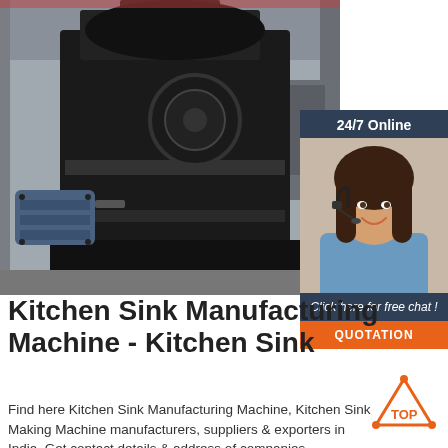[Figure (photo): Industrial kitchen sink manufacturing machine in a factory warehouse setting, showing a large black press/stamping machine with a blue electric motor]
[Figure (infographic): 24/7 Online chat widget with a smiling woman wearing a headset, dark navy background, italic text 'Click here for free chat!' and orange QUOTATION button]
Kitchen Sink Manufacturing Machine - Kitchen Sink
[Figure (logo): TOP logo with orange triangle/dots design and orange text 'TOP']
Find here Kitchen Sink Manufacturing Machine, Kitchen Sink Making Machine manufacturers, suppliers & exporters in India. Get contact details & address of companies manufacturing and supplying Kitchen Sink